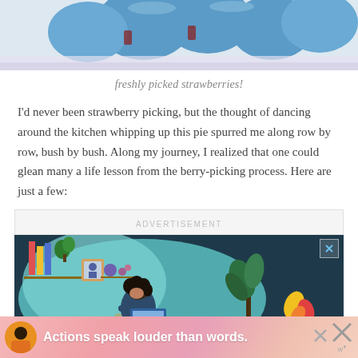[Figure (photo): Top portion of an image showing blue/teal colored object (likely strawberry-shaped item) on a light background, cropped at top of page]
freshly picked strawberries!
I'd never been strawberry picking, but the thought of dancing around the kitchen whipping up this pie spurred me along row by row, bush by bush. Along my journey, I realized that one could glean many a life lesson from the berry-picking process. Here are just a few:
[Figure (illustration): Advertisement illustration showing a person with curly hair working at a desk with a laptop, surrounded by plants, bookshelves, and home decor items, on a dark blue background with teal blob shape]
[Figure (illustration): Bottom banner advertisement with pink/coral gradient background showing a person and text 'Actions speak louder than words.']